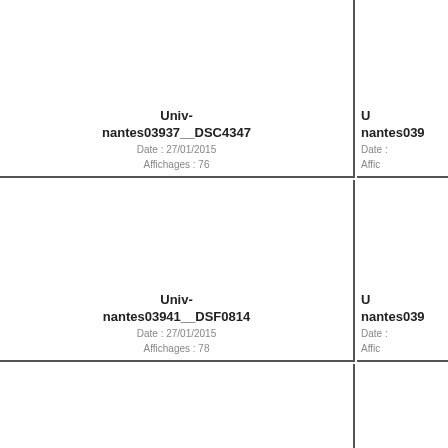Univ-nantes03937__DSC4347
Date : 27/01/2015
Affichages : 76
Univ-nantes039…
Date : …
Affic…
Univ-nantes03941__DSF0814
Date : 27/01/2015
Affichages : 78
Univ-nantes039…
Date : …
Affic…